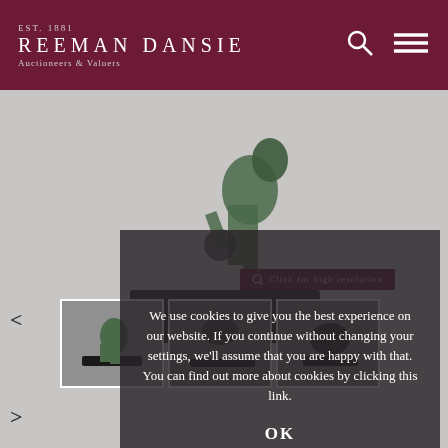EST. 1881 REEMAN DANSIE Auctioneers & Valuers
[Figure (photo): A bronze Art Deco footballer statue on a black marble base, shown against a light grey background. Cookie consent overlay partially covers the image.]
We use cookies to give you the best experience on our website. If you continue without changing your settings, we'll assume that you are happy with that. You can find out more about cookies by clicking this link.
OK